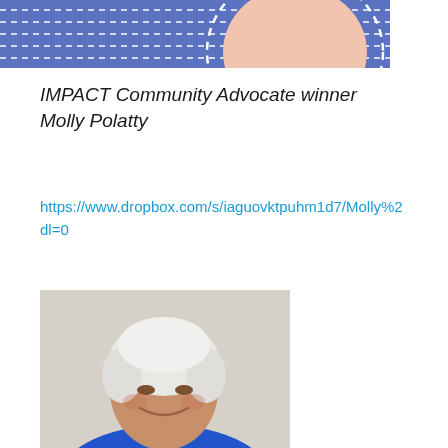[Figure (illustration): Partial illustration showing a figure with blue dotted/dashed pattern background and a light peach/skin-toned circular shape, cropped at top of page]
IMPACT Community Advocate winner Molly Polatty
https://www.dropbox.com/s/iaguovktpuhm1d7/Molly%2...dl=0
[Figure (photo): Portrait photo of an elderly woman with short white hair, smiling, wearing a blue top, photographed against a light textured wall background]